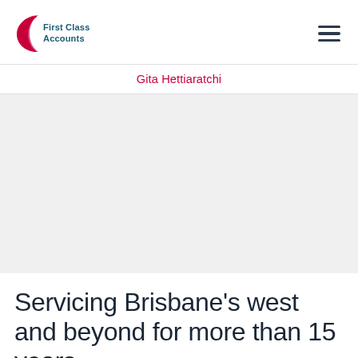[Figure (logo): First Class Accounts logo — red crescent/C shape on left, dark teal text 'First Class Accounts' on right]
Gita Hettiaratchi
[Figure (photo): Light grey hero image placeholder area]
Servicing Brisbane’s west and beyond for more than 15 years